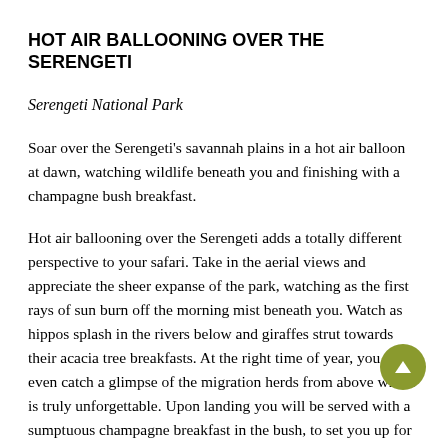HOT AIR BALLOONING OVER THE SERENGETI
Serengeti National Park
Soar over the Serengeti's savannah plains in a hot air balloon at dawn, watching wildlife beneath you and finishing with a champagne bush breakfast.
Hot air ballooning over the Serengeti adds a totally different perspective to your safari. Take in the aerial views and appreciate the sheer expanse of the park, watching as the first rays of sun burn off the morning mist beneath you. Watch as hippos splash in the rivers below and giraffes strut towards their acacia tree breakfasts. At the right time of year, you may even catch a glimpse of the migration herds from above which is truly unforgettable. Upon landing you will be served with a sumptuous champagne breakfast in the bush, to set you up for the rest of your day on safari. Whether you are celebrating a birthday or honeymoon, or simply want to treat yourself, this is a once in a lifetime experience.